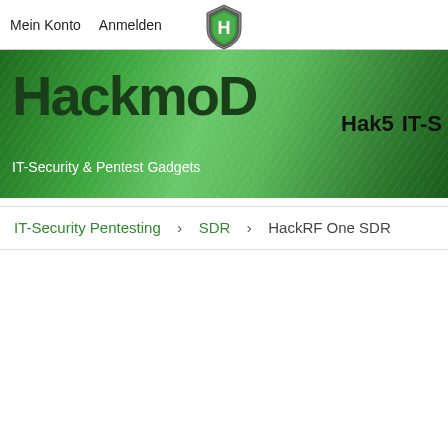Mein Konto    Anmelden
[Figure (logo): Shield logo with H letter, green and grey colors]
HackmoD
IT-Security & Pentest Gadgets
Hak5   IT-S
IT-Security Pentesting    SDR    HackRF One SDR